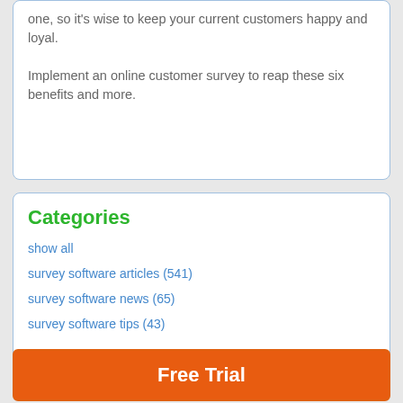one, so it's wise to keep your current customers happy and loyal.
Implement an online customer survey to reap these six benefits and more.
Categories
show all
survey software articles (541)
survey software news (65)
survey software tips (43)
Free Trial